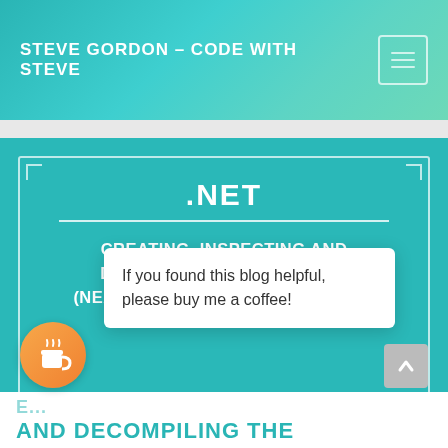STEVE GORDON – CODE WITH STEVE
[Figure (screenshot): Blog post featured image card with teal background, bordered rectangle, .NET label, divider line, and subtitle text: CREATING, INSPECTING AND DECOMPILING THE WORLD'S (NEARLY) SMALLEST C# PROGRAM]
If you found this blog helpful, please buy me a coffee!
AND DECOMPILING THE